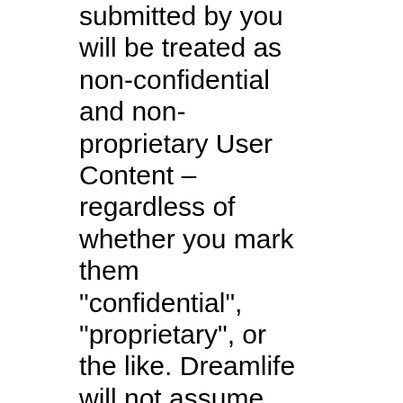submitted by you will be treated as non-confidential and non-proprietary User Content – regardless of whether you mark them "confidential", "proprietary", or the like. Dreamlife will not assume any responsibility, obligation, or liability for the receipt or non-receipt of any of the foregoing. Therefore